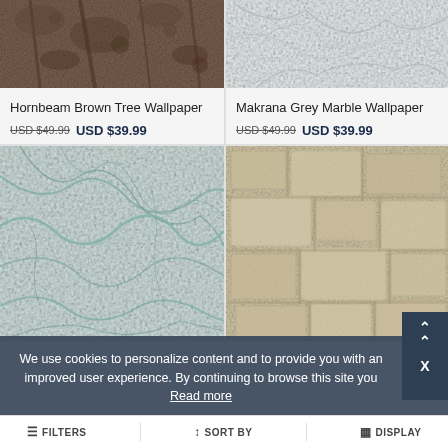[Figure (photo): Hornbeam Brown Tree Wallpaper product image - dark brown botanical texture]
[Figure (photo): Makrana Grey Marble Wallpaper product image - light grey marble texture]
Hornbeam Brown Tree Wallpaper
USD $49.99  USD $39.99
Makrana Grey Marble Wallpaper
USD $49.99  USD $39.99
[Figure (photo): Teal/white marble texture wallpaper product image]
[Figure (photo): Beige natural stone texture wallpaper product image]
We use cookies to personalize content and to provide you with an improved user experience. By continuing to browse this site you
Read more
FILTERS   SORT BY   DISPLAY